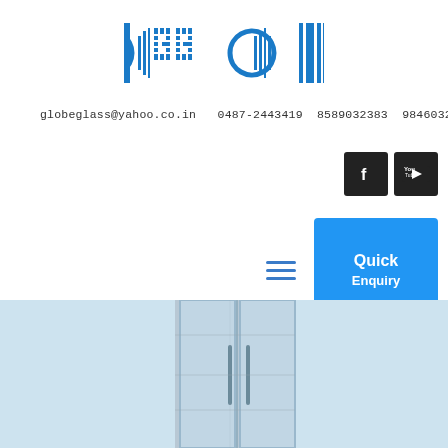[Figure (logo): Globe Glass company logo with blue geometric barcode-style design]
globeglass@yahoo.co.in   0487-2443419  8589032383  9846032381
[Figure (other): Facebook and YouTube social media icon buttons (dark square buttons)]
[Figure (other): Hamburger menu icon (three blue horizontal lines) and blue Quick Enquiry button]
[Figure (photo): Photo of glass door/partition with concrete wall background, light blue tint]